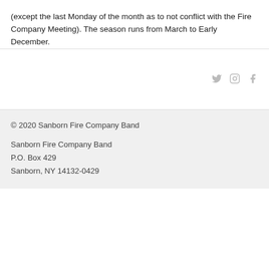(except the last Monday of the month as to not conflict with the Fire Company Meeting). The season runs from March to Early December.
© 2020 Sanborn Fire Company Band
Sanborn Fire Company Band
P.O. Box 429
Sanborn, NY 14132-0429